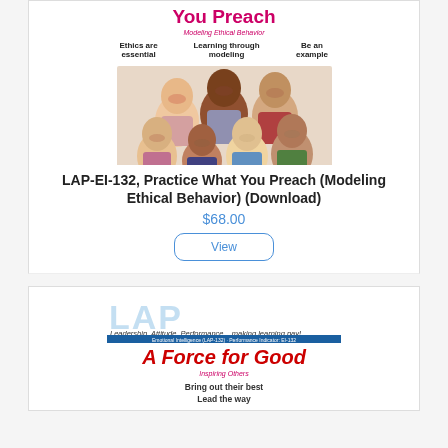You Preach
Modeling Ethical Behavior
Ethics are essential	Learning through modeling	Be an example
[Figure (photo): Group of diverse young people smiling and giving thumbs up]
LAP-EI-132, Practice What You Preach (Modeling Ethical Behavior) (Download)
$68.00
View
[Figure (logo): LAP Leadership, Attitude, Performance ...making learning pay! banner with blue bar]
A Force for Good
Inspiring Others
Bring out their best
Lead the way